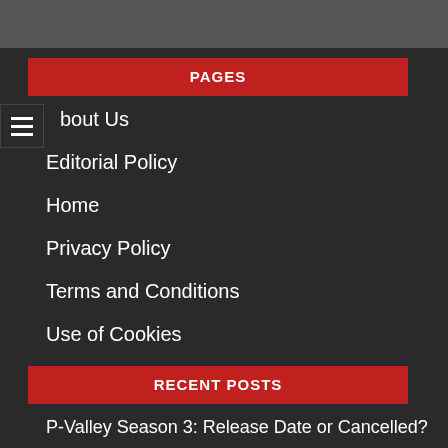PAGES
About Us
Editorial Policy
Home
Privacy Policy
Terms and Conditions
Use of Cookies
RECENT POSTS
P-Valley Season 3: Release Date or Cancelled?
Best Netflix Web Series To Binge Watch Now !!!
All The Upcoming Projects Of Elon Musk Is Here!!!
who is Elon Musk ?